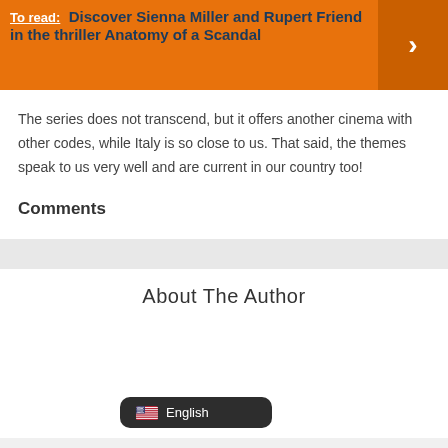[Figure (screenshot): Orange banner with 'To read:' label and title 'Discover Sienna Miller and Rupert Friend in the thriller Anatomy of a Scandal' with a right-arrow button on the right side]
The series does not transcend, but it offers another cinema with other codes, while Italy is so close to us. That said, the themes speak to us very well and are current in our country too!
Comments
About The Author
[Figure (screenshot): Language selector badge showing US flag and 'English' text on dark background]